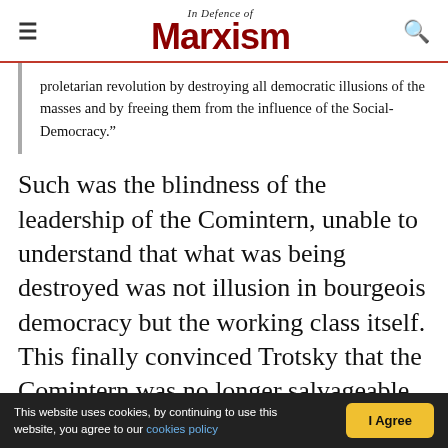In Defence of Marxism
proletarian revolution by destroying all democratic illusions of the masses and by freeing them from the influence of the Social-Democracy.”
Such was the blindness of the leadership of the Comintern, unable to understand that what was being destroyed was not illusion in bourgeois democracy but the working class itself. This finally convinced Trotsky that the Comintern was no longer salvageable, and that a new International had to be built. He put forward this position in July 1933 (“It is necessary to build communists parties
This website uses cookies, by continuing to use this website, you agree to our cookies policy  I Agree